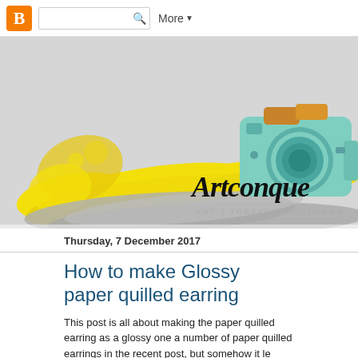Blogger navigation bar with search box and More button
[Figure (illustration): Artconque blog header banner with yellow paint brush strokes on grey background and a teal/orange illustrated camera, with script text 'Artconque' and subtitle 'ART | TRAVEL | PHOTOGRAPHY']
Thursday, 7 December 2017
How to make Glossy paper quilled earring
This post is all about making the paper quilled earring as a glossy one a number of paper quilled earrings in the recent post, but somehow it le